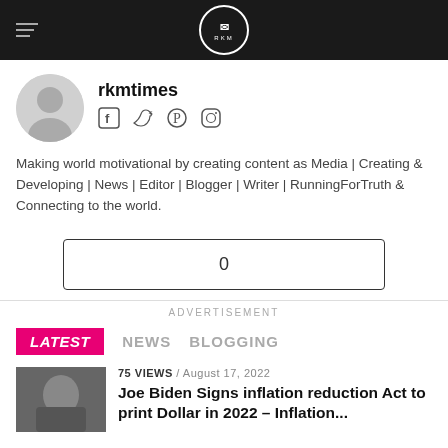rkmtimes website header with hamburger menu and RKM logo
[Figure (photo): User avatar placeholder icon (gray circle with person silhouette)]
rkmtimes
Social media icons: Facebook, Twitter, Pinterest, Instagram
Making world motivational by creating content as Media | Creating & Developing | News | Editor | Blogger | Writer | RunningForTruth & Connecting to the world.
0
ADVERTISEMENT
LATEST   NEWS   BLOGGING
[Figure (photo): Thumbnail photo of Joe Biden]
75 VIEWS / August 17, 2022
Joe Biden Signs inflation reduction Act to print Dollar in 2022 – Inflation...